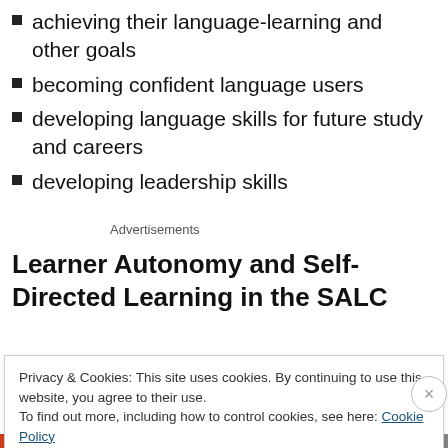achieving their language-learning and other goals
becoming confident language users
developing language skills for future study and careers
developing leadership skills
Advertisements
Learner Autonomy and Self-Directed Learning in the SALC
The SALC's mission is to promote learner autonomy which
Privacy & Cookies: This site uses cookies. By continuing to use this website, you agree to their use.
To find out more, including how to control cookies, see here: Cookie Policy
Close and accept